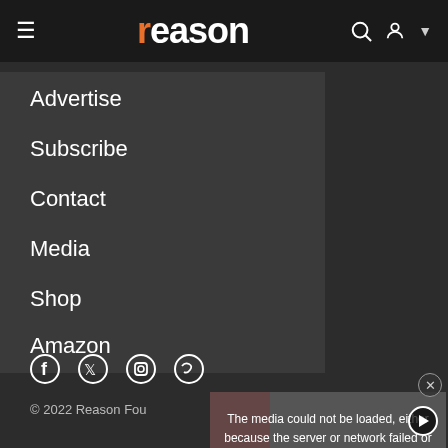reason
Advertise
Subscribe
Contact
Media
Shop
Amazon
[Figure (screenshot): Social media icons: Facebook, Twitter, Instagram, and partially visible fourth icon]
© 2022 Reason Fou...
[Figure (screenshot): Video player showing error message: 'The media could not be loaded, either because the server or network failed or because the format is not supported.' with a play button and close X button. Background shows two men in suits at a podium.]